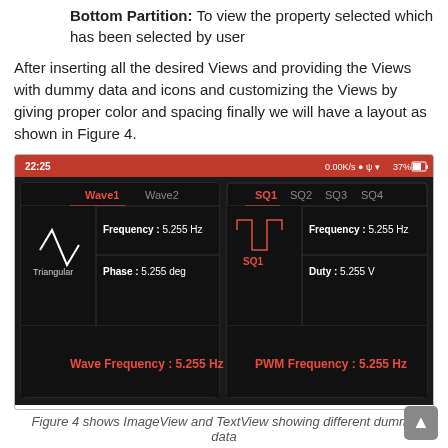Bottom Partition: To view the property selected which has been selected by user
After inserting all the desired Views and providing the Views with dummy data and icons and customizing the Views by giving proper color and spacing finally we will have a layout as shown in Figure 4.
[Figure (screenshot): Android app screenshot showing two CardViews side by side. Left card has tabs Wave1 and Wave2 with a triangular wave icon, Frequency: 5.255 Hz, Phase: 5.255 deg, and bottom bar 'Wave Frequency: 5.255 Hz'. Right card has tabs SQ1, SQ2, SQ3, SQ4 with Frequency: 5.255 Hz, Duty: 5.255 V, and bottom bar 'PWM Frequency: 5.255 Hz'. Status bar shows 22:25 and 0.00K/s 37%.]
Figure 4 shows ImageView and TextView showing different dummy data
In Figure 4, the left CardView shows all